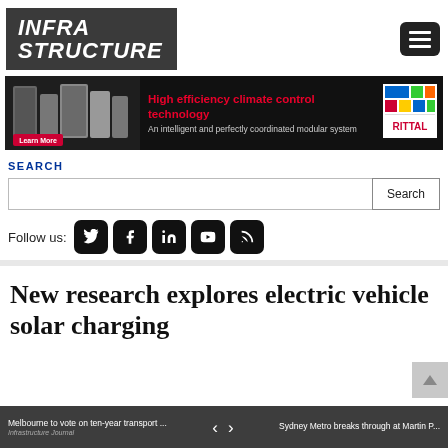[Figure (logo): Infrastructure magazine logo - white bold italic text on dark gray background]
[Figure (screenshot): Hamburger menu button - three white horizontal lines on black rounded rectangle]
[Figure (infographic): Rittal banner ad: High efficiency climate control technology - An intelligent and perfectly coordinated modular system. Learn More button. Rittal logo.]
SEARCH
[Figure (screenshot): Search input box with Search button]
Follow us:
[Figure (infographic): Social media icons: Twitter, Facebook, LinkedIn, YouTube, RSS feed - black rounded square buttons]
New research explores electric vehicle solar charging
Melbourne to vote on ten-year transport ...    <    >    Sydney Metro breaks through at Martin P...  Infrastructure Journal